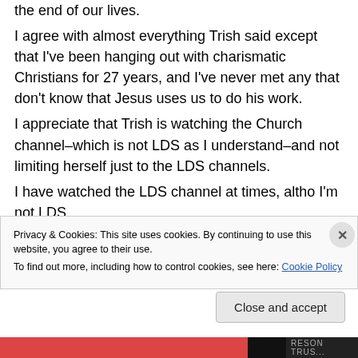the end of our lives.
I agree with almost everything Trish said except that I've been hanging out with charismatic Christians for 27 years, and I've never met any that don't know that Jesus uses us to do his work.
I appreciate that Trish is watching the Church channel–which is not LDS as I understand–and not limiting herself just to the LDS channels.
I have watched the LDS channel at times, altho I'm not LDS.
Privacy & Cookies: This site uses cookies. By continuing to use this website, you agree to their use.
To find out more, including how to control cookies, see here: Cookie Policy
Close and accept